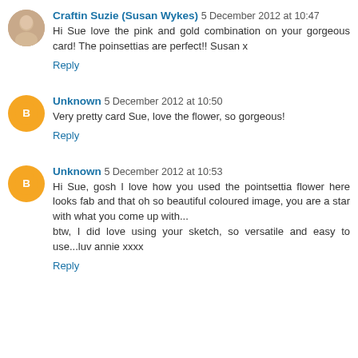Craftin Suzie (Susan Wykes) 5 December 2012 at 10:47
Hi Sue love the pink and gold combination on your gorgeous card! The poinsettias are perfect!! Susan x
Reply
Unknown 5 December 2012 at 10:50
Very pretty card Sue, love the flower, so gorgeous!
Reply
Unknown 5 December 2012 at 10:53
Hi Sue, gosh I love how you used the pointsettia flower here looks fab and that oh so beautiful coloured image, you are a star with what you come up with...
btw, I did love using your sketch, so versatile and easy to use...luv annie xxxx
Reply